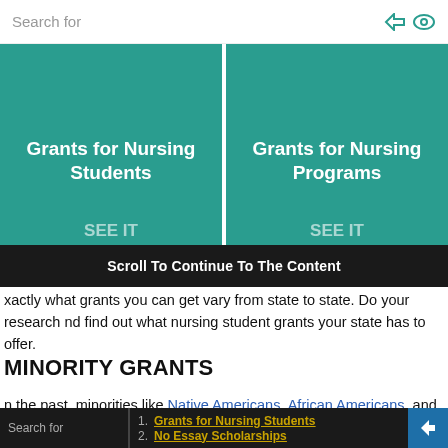Search for
[Figure (infographic): Two teal colored cards side by side: 'Grants for Nursing Students' and 'Grants for Nursing Programs' with 'SEE IT' text at the bottom of each card]
Scroll To Continue To The Content
xactly what grants you can get vary from state to state. Do your research nd find out what nursing student grants your state has to offer.
MINORITY GRANTS
n the past, minorities like Native Americans, African Americans, and omen were shut out of healthcare and medical fields. Today, many rganizations offer grants to minority nursing candidates to encourage their ntry in the field.
Search for
1. Grants for Nursing Students
2. No Essay Scholarships